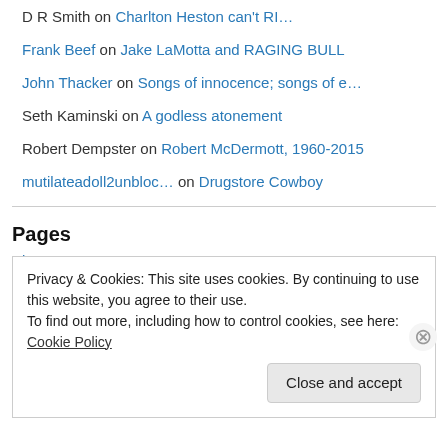D R Smith on Charlton Heston can't RI…
Frank Beef on Jake LaMotta and RAGING BULL
John Thacker on Songs of innocence; songs of e…
Seth Kaminski on A godless atonement
Robert Dempster on Robert McDermott, 1960-2015
mutilateadoll2unbloc… on Drugstore Cowboy
Pages
About
Privacy & Cookies: This site uses cookies. By continuing to use this website, you agree to their use.
To find out more, including how to control cookies, see here: Cookie Policy